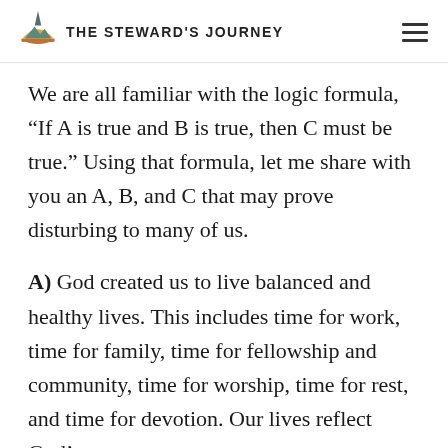THE STEWARD'S JOURNEY
We are all familiar with the logic formula, “If A is true and B is true, then C must be true.” Using that formula, let me share with you an A, B, and C that may prove disturbing to many of us.
A) God created us to live balanced and healthy lives. This includes time for work, time for family, time for fellowship and community, time for worship, time for rest, and time for devotion. Our lives reflect God’s